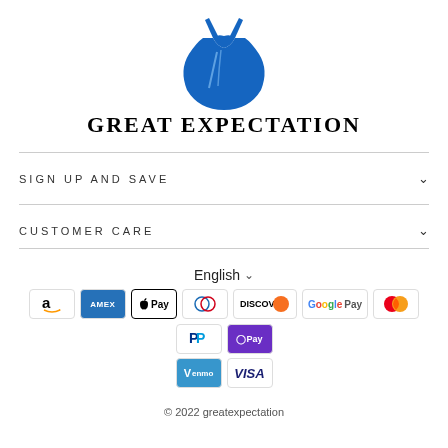[Figure (logo): Blue dress silhouette logo icon for Great Expectation brand]
GREAT EXPECTATION
SIGN UP AND SAVE
CUSTOMER CARE
English
[Figure (infographic): Payment method icons: Amazon, Amex, Apple Pay, Diners Club, Discover, Google Pay, Mastercard, PayPal, Shop Pay, Venmo, Visa]
© 2022 greatexpectation